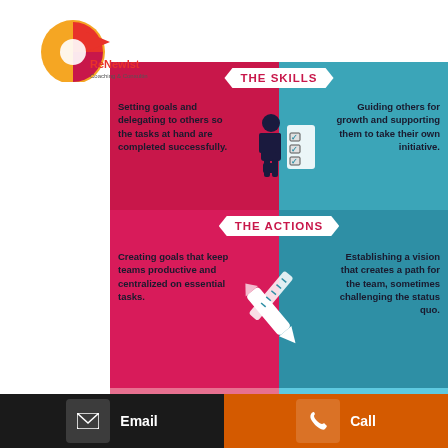[Figure (logo): ReNewlst Coaching & Consulting logo with circular orange/red design and arrow]
[Figure (infographic): Leadership skills infographic with three sections: THE SKILLS (setting goals/delegating vs guiding others), THE ACTIONS (creating productive goals vs establishing vision), and THE RELATIONSHIP (transactional vs deeper connection). Pink/crimson left panels and teal/blue right panels with central icons.]
Setting goals and delegating to others so the tasks at hand are completed successfully.
Guiding others for growth and supporting them to take their own initiative.
Creating goals that keep teams productive and centralized on essential tasks.
Establishing a vision that creates a path for the team, sometimes challenging the status quo.
ance on the f duty and responsibility. Creates a more transactional
Places fu team members. Creates a deeper